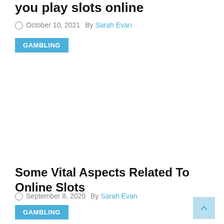you play slots online
October 10, 2021  By Sarah Evan
GAMBLING
Some Vital Aspects Related To Online Slots
September 8, 2020  By Sarah Evan
GAMBLING